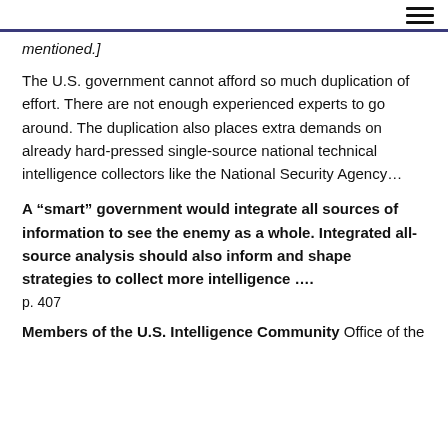[hamburger menu icon]
mentioned.]
The U.S. government cannot afford so much duplication of effort. There are not enough experienced experts to go around. The duplication also places extra demands on already hard-pressed single-source national technical intelligence collectors like the National Security Agency…
A “smart” government would integrate all sources of information to see the enemy as a whole. Integrated all-source analysis should also inform and shape strategies to collect more intelligence ….
p. 407
Members of the U.S. Intelligence Community Office of the